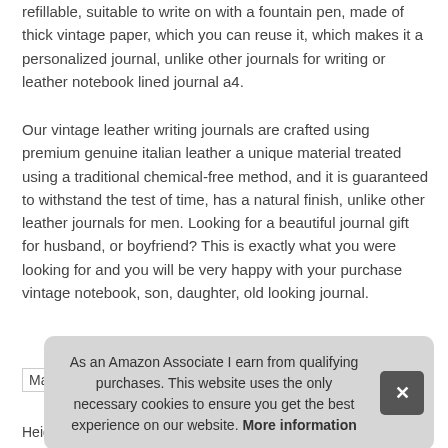refillable, suitable to write on with a fountain pen, made of thick vintage paper, which you can reuse it, which makes it a personalized journal, unlike other journals for writing or leather notebook lined journal a4.
Our vintage leather writing journals are crafted using premium genuine italian leather a unique material treated using a traditional chemical-free method, and it is guaranteed to withstand the test of time, has a natural finish, unlike other leather journals for men. Looking for a beautiful journal gift for husband, or boyfriend? This is exactly what you were looking for and you will be very happy with your purchase vintage notebook, son, daughter, old looking journal.
As an Amazon Associate I earn from qualifying purchases. This website uses the only necessary cookies to ensure you get the best experience on our website. More information
| Ma |  |
| Height | 8.66 Inches |